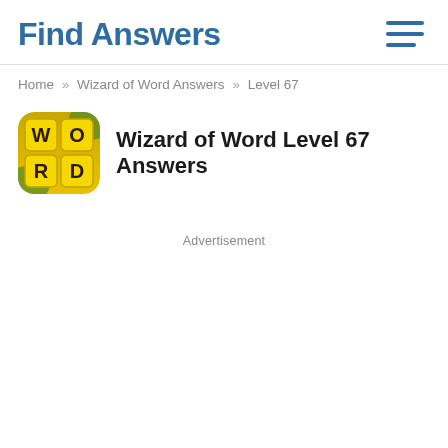Find Answers
Home » Wizard of Word Answers » Level 67
Wizard of Word Level 67 Answers
Advertisement